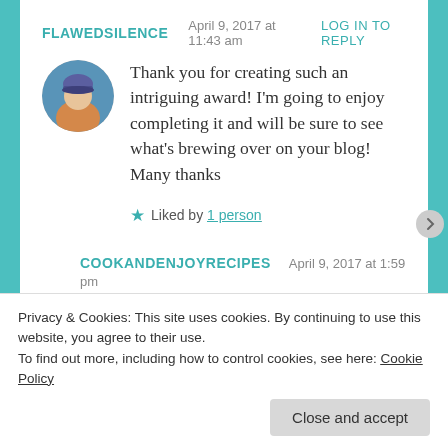FLAWEDSILENCE   April 9, 2017 at 11:43 am   LOG IN TO REPLY
[Figure (photo): Circular avatar photo of a person wearing a blue/purple beanie hat and yellow jacket]
Thank you for creating such an intriguing award! I'm going to enjoy completing it and will be sure to see what's brewing over on your blog! Many thanks
★ Liked by 1 person
COOKANDENJOYRECIPES   April 9, 2017 at 1:59 pm
Privacy & Cookies: This site uses cookies. By continuing to use this website, you agree to their use.
To find out more, including how to control cookies, see here: Cookie Policy
Close and accept